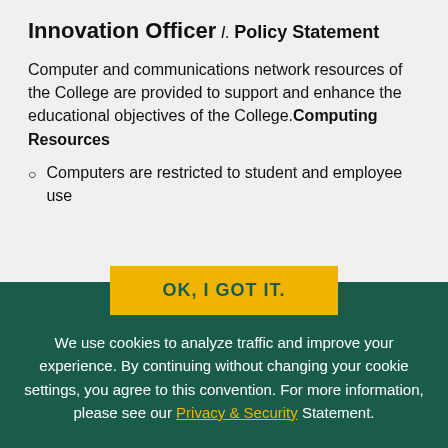Innovation Officer
I. Policy Statement
Computer and communications network resources of the College are provided to support and enhance the educational objectives of the College. Computing Resources
Computers are restricted to student and employee use
OK, I GOT IT.
We use cookies to analyze traffic and improve your experience. By continuing without changing your cookie settings, you agree to this convention. For more information, please see our Privacy & Security Statement.